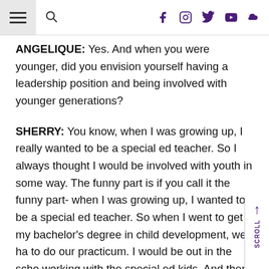Navigation header with hamburger menu, search icon, and social media icons (Facebook, Instagram, Twitter, YouTube, SoundCloud)
ANGELIQUE: Yes. And when you were younger, did you envision yourself having a leadership position and being involved with younger generations?
SHERRY: You know, when I was growing up, I really wanted to be a special ed teacher. So I always thought I would be involved with youth in some way. The funny part is if you call it the funny part- when I was growing up, I wanted to be a special ed teacher. So when I went to get my bachelor's degree in child development, we ha to do our practicum. I would be out in the scho working with the special ed kids. And then I'm